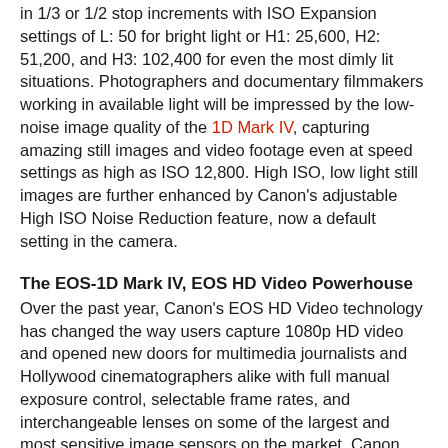in 1/3 or 1/2 stop increments with ISO Expansion settings of L: 50 for bright light or H1: 25,600, H2: 51,200, and H3: 102,400 for even the most dimly lit situations. Photographers and documentary filmmakers working in available light will be impressed by the low-noise image quality of the 1D Mark IV, capturing amazing still images and video footage even at speed settings as high as ISO 12,800. High ISO, low light still images are further enhanced by Canon's adjustable High ISO Noise Reduction feature, now a default setting in the camera.
The EOS-1D Mark IV, EOS HD Video Powerhouse
Over the past year, Canon's EOS HD Video technology has changed the way users capture 1080p HD video and opened new doors for multimedia journalists and Hollywood cinematographers alike with full manual exposure control, selectable frame rates, and interchangeable lenses on some of the largest and most sensitive image sensors on the market. Canon continues this innovation trend with the new EOS-1D Mark IV Digital SLR with Full HD capture and full manual exposure control, plus selectable frame rates on an all-new APS-H-sized image sensor that's similar in size to a Super 35mm motion picture film frame. The large sensor allows filmmakers to achieve shallow depth-of-field just as cinematographers have